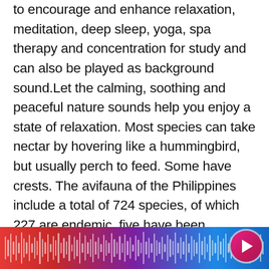to encourage and enhance relaxation, meditation, deep sleep, yoga, spa therapy and concentration for study and can also be played as background sound.Let the calming, soothing and peaceful nature sounds help you enjoy a state of relaxation. Most species can take nectar by hovering like a hummingbird, but usually perch to feed. Some have crests. The avifauna of the Philippines include a total of 724 species, of which 227 are endemic, five have been introduced by humans. Nocturnal bird sounds 7 Little Words . These birds can avoid many day time, or diurnal predators. The Paridae are mainly small stocky woodland species with short stout bills. Males and females typically look very
[Figure (other): Audio player waveform visualization bar with gradient background from red to purple to blue, with a pink/magenta circular play button in the bottom right corner.]